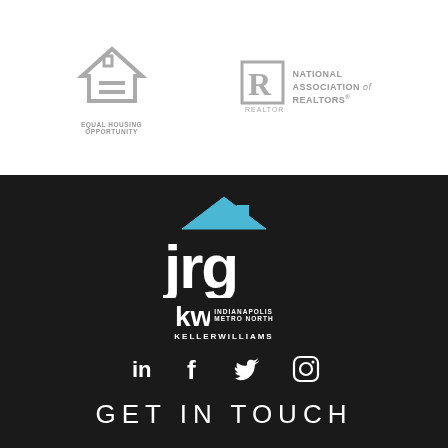[Figure (logo): Equal Housing Opportunity logo - house icon with equal sign, gray color, with text EQUAL HOUSING OPPORTUNITY below]
[Figure (logo): National Association of Realtors logo - R in rectangle with text NATIONAL ASSOCIATION of REALTORS and REALTOR below icon]
[Figure (logo): JRG Keller Williams Indianapolis Metro North logo - jrg letters with blue house roof icon above, kw logo with INDIANAPOLIS METRO NORTH and KELLERWILLIAMS text]
[Figure (infographic): Social media icons: LinkedIn, Facebook, Twitter, Instagram in white on dark background]
GET IN TOUCH